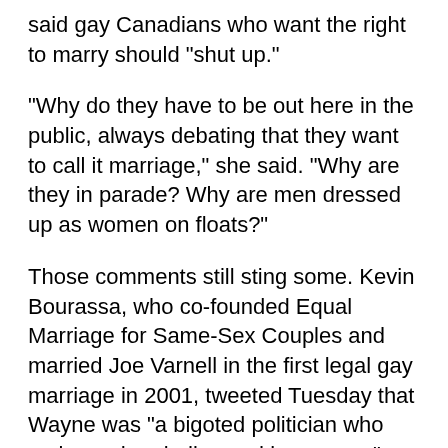said gay Canadians who want the right to marry should "shut up."
"Why do they have to be out here in the public, always debating that they want to call it marriage," she said. "Why are they in parade? Why are men dressed up as women on floats?"
Those comments still sting some. Kevin Bourassa, who co-founded Equal Marriage for Same-Sex Couples and married Joe Varnell in the first legal gay marriage in 2001, tweeted Tuesday that Wayne was "a bigoted politician who embraced prejudice and ignorance."
Still, Wayne's constituents embraced "Elsie," as she often referred to herself in the third-person.
However,